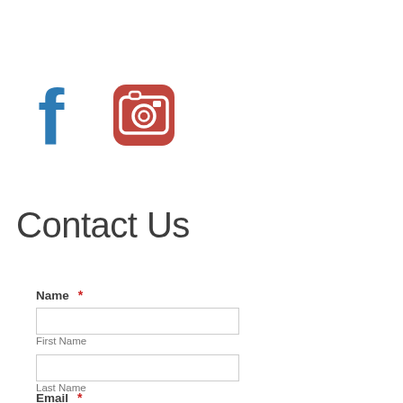[Figure (logo): Facebook icon (blue 'f' letterform) and Instagram icon (red/pink rounded square with camera symbol)]
Contact Us
Name *
First Name
Last Name
Email *